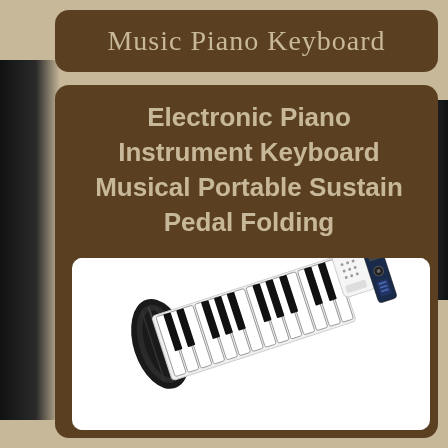Music Piano Keyboard
Electronic Piano Instrument Keyboard Musical Portable Sustain Pedal Folding
[Figure (photo): A roll-up flexible electronic piano keyboard partially unrolled, showing black and white keys, with a small white electronic module/speaker unit and a dark controller attached at one end.]